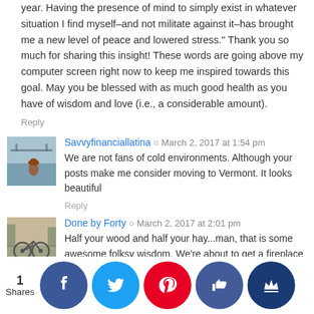year. Having the presence of mind to simply exist in whatever situation I find myself–and not militate against it–has brought me a new level of peace and lowered stress." Thank you so much for sharing this insight! These words are going above my computer screen right now to keep me inspired towards this goal. May you be blessed with as much good health as you have of wisdom and love (i.e., a considerable amount).
Reply
Savvyfinanciallatina  ⊙  March 2, 2017 at 1:54 pm
We are not fans of cold environments. Although your posts make me consider moving to Vermont. It looks beautiful
Reply
Done by Forty  ⊙  March 2, 2017 at 2:01 pm
Half your wood and half your hay...man, that is some awesome folksy wisdom. We're about to get a fireplace but I wonder how often we'll use it in Arizona. I think three logs may get us through the whole winter. 🙂
1 Shares